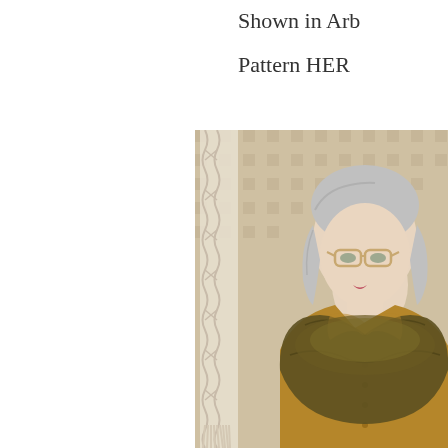Shown in Arb
Pattern HER
[Figure (photo): A woman with silver-gray hair and amber glasses wearing a brown/olive knitted cowl scarf over a mustard yellow cardigan, standing in front of a gingham/checked fabric backdrop with a macrame or lace textile hanging on the left side.]